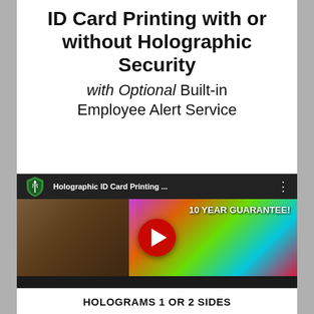ID Card Printing with or without Holographic Security
with Optional Built-in Employee Alert Service
[Figure (screenshot): YouTube video thumbnail showing 'Holographic ID Card Printing ...' with a shield logo, hand holding a holographic ID card, play button, and text '10 YEAR GUARANTEE!']
HOLOGRAMS 1 OR 2 SIDES